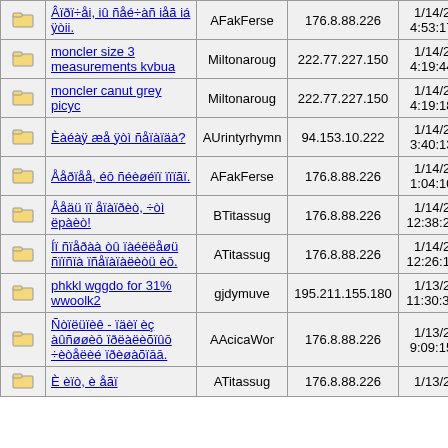|  | Title | User | IP | Date | # |
| --- | --- | --- | --- | --- | --- |
| [folder] | Âïðï÷åi, iû ñåé÷àñ iåã iá ÿòii. | AFakFerse | 176.8.88.226 | 1/14/2015 4:53:17 AM | 0 |
| [folder] | moncler size 3 measurements kvbua | Miltonaroug | 222.77.227.150 | 1/14/2015 4:19:44 AM | 0 |
| [folder] | moncler canut grey picyc | Miltonaroug | 222.77.227.150 | 1/14/2015 4:19:18 AM | 0 |
| [folder] | Èàéàÿ æå ÿòì ñåïàïäà? | AUrintyrhymn | 94.153.10.222 | 1/14/2015 3:40:13 AM | 0 |
| [folder] | Ååðïåå, éō ñéèøéïï ïïïãï. | AFakFerse | 176.8.88.226 | 1/14/2015 1:04:10 AM | 0 |
| [folder] | Ååäü ïï åïàïðèò, ÷òì ëpàèò! | BTitassug | 176.8.88.226 | 1/14/2015 12:38:29 AM | 0 |
| [folder] | Íï ñïåðàà òû ïàéëëåøü ñïïñïà ïñåïàïàëèòü èō. | ATitassug | 176.8.88.226 | 1/14/2015 12:26:15 AM | 0 |
| [folder] | phkkl wggdo for 31% wwoolk2 | gjdymuve | 195.211.155.180 | 1/13/2015 11:30:39 PM | 0 |
| [folder] | Ñòïëüïèê - ïäèï èç àûñøøèō ïðëàëèõïûō ÷èòåëèé ïðèøàõïāā. | AAcicaWor | 176.8.88.226 | 1/13/2015 9:09:15 PM | 0 |
| [folder] | È èïò, è åãï | ATitassug | 176.8.88.226 | 1/13/2015 | 0 |